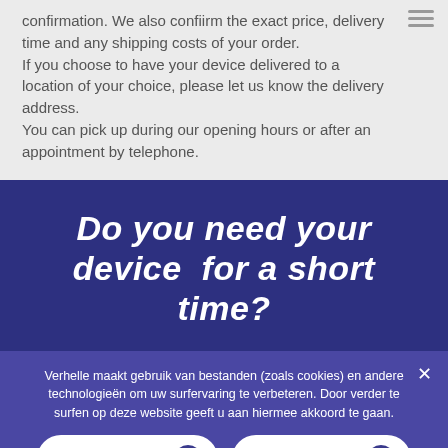confirmation. We also confiirm the exact price, delivery time and any shipping costs of your order. If you choose to have your device delivered to a location of your choice, please let us know the delivery address. You can pick up during our opening hours or after an appointment by telephone.
Do you need your device for a short time?
Verhelle maakt gebruik van bestanden (zoals cookies) en andere technologieën om uw surfervaring te verbeteren. Door verder te surfen op deze website geeft u aan hiermee akkoord te gaan.
IK GA AKKOORD
PRIVACYBELEID